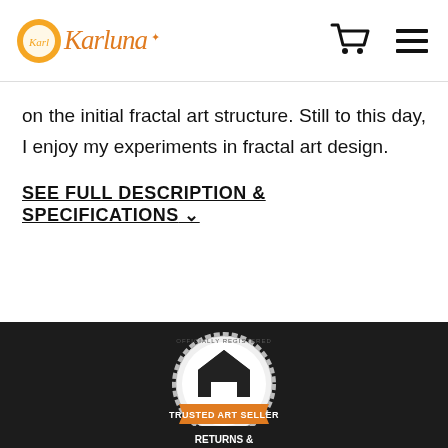Karluna
on the initial fractal art structure. Still to this day, I enjoy my experiments in fractal art design.
SEE FULL DESCRIPTION & SPECIFICATIONS ⌄
[Figure (logo): Trusted Art Seller officially registered badge - circular seal with house/tent icon and orange banner reading TRUSTED ART SELLER]
[Figure (logo): Verified Returns & badge - orange square badge with circular arrows icon and text VERIFIED RETURNS &]